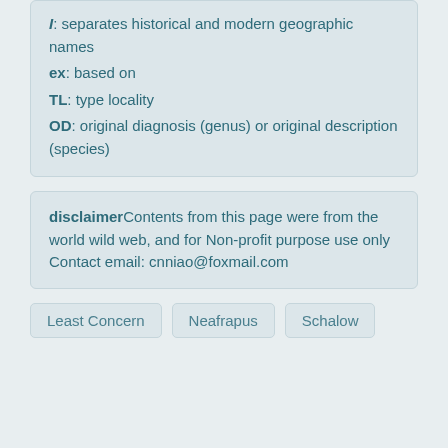syn: synonym of
/: separates historical and modern geographic names
ex: based on
TL: type locality
OD: original diagnosis (genus) or original description (species)
disclaimer—Contents from this page were from the world wild web, and for Non-profit purpose use only—Contact email: cnniao@foxmail.com
Least Concern
Neafrapus
Schalow